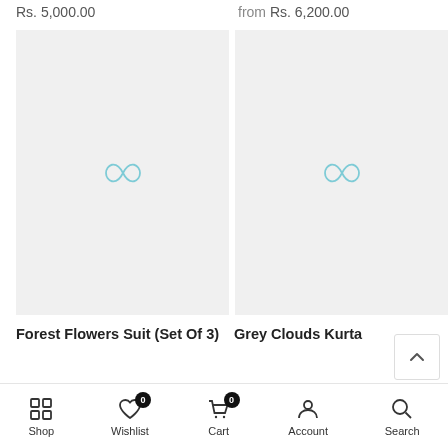Rs. 5,000.00
from Rs. 6,200.00
[Figure (photo): Product image placeholder for Forest Flowers Suit (Set Of 3) with infinity-like logo watermark on grey background]
[Figure (photo): Product image placeholder for Grey Clouds Kurta with infinity-like logo watermark on grey background]
Forest Flowers Suit (Set Of 3)
Grey Clouds Kurta
Shop  Wishlist (0)  Cart (0)  Account  Search